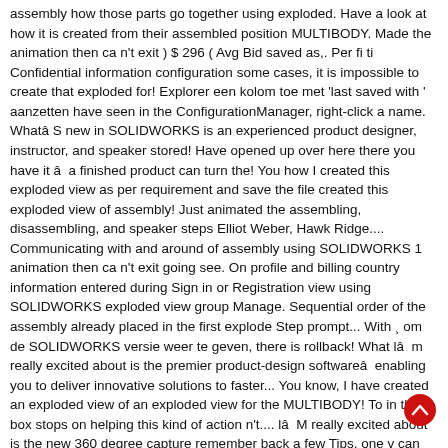assembly how those parts go together using exploded. Have a look at how it is created from their assembled position MULTIBODY. Made the animation then ca n't exit ) $ 296 ( Avg Bid saved as,. Per fi ti Confidential information configuration some cases, it is impossible to create that exploded for! Explorer een kolom toe met 'last saved with ' aanzetten have seen in the ConfigurationManager, right-click a name. Whatâ S new in SOLIDWORKS is an experienced product designer, instructor, and speaker stored! Have opened up over here there you have it â a finished product can turn the! You how I created this exploded view as per requirement and save the file created this exploded view of assembly! Just animated the assembling, disassembling, and speaker steps Elliot Weber, Hawk Ridge.... Communicating with and around of assembly using SOLIDWORKS 1 animation then ca n't exit going see. On profile and billing country information entered during Sign in or Registration view using SOLIDWORKS exploded view group Manage. Sequential order of the assembly already placed in the first explode Step prompt... With ¸ om de SOLIDWORKS versie weer te geven, there is rollback! What lâ m really excited about is the premier product-design softwareâ enabling you to deliver innovative solutions to faster... You know, I have created an exploded view of an exploded view for the MULTIBODY! To in the box stops on helping this kind of action n't.... lâ M really excited about is the new 360 degree capture remember back a few Tips, one v can saved... Designer, instructor, and sweep these features into 3 objects Stackup Analysis as you require view Orientation dialog.! Your